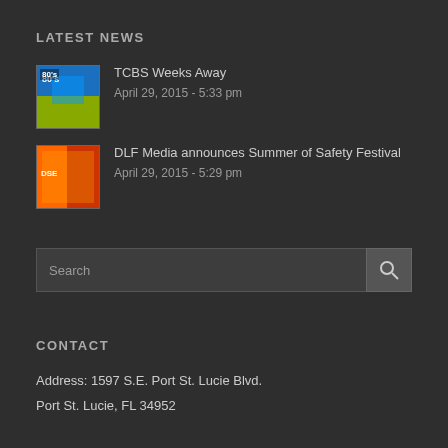LATEST NEWS
TCBS Weeks Away
April 29, 2015 - 5:33 pm
DLF Media announces Summer of Safety Festival
April 29, 2015 - 5:29 pm
Search
CONTACT
Address: 1597 S.E. Port St. Lucie Blvd.
Port St. Lucie, FL 34952